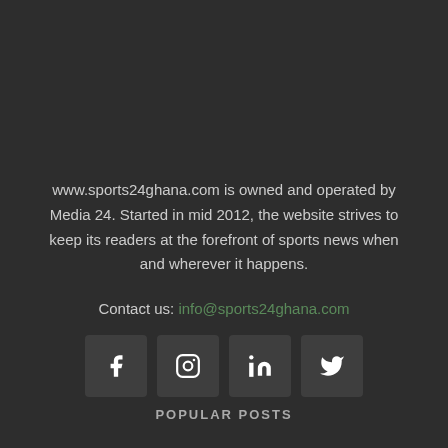www.sports24ghana.com is owned and operated by Media 24. Started in mid 2012, the website strives to keep its readers at the forefront of sports news when and wherever it happens.
Contact us: info@sports24ghana.com
[Figure (infographic): Four social media icons in dark square buttons: Facebook (f), Instagram (camera), LinkedIn (in), Twitter (bird)]
POPULAR POSTS